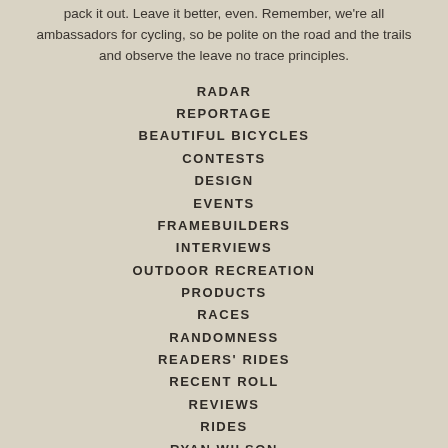pack it out. Leave it better, even. Remember, we're all ambassadors for cycling, so be polite on the road and the trails and observe the leave no trace principles.
RADAR
REPORTAGE
BEAUTIFUL BICYCLES
CONTESTS
DESIGN
EVENTS
FRAMEBUILDERS
INTERVIEWS
OUTDOOR RECREATION
PRODUCTS
RACES
RANDOMNESS
READERS' RIDES
RECENT ROLL
REVIEWS
RIDES
RYAN WILSON
SHOP VISIT